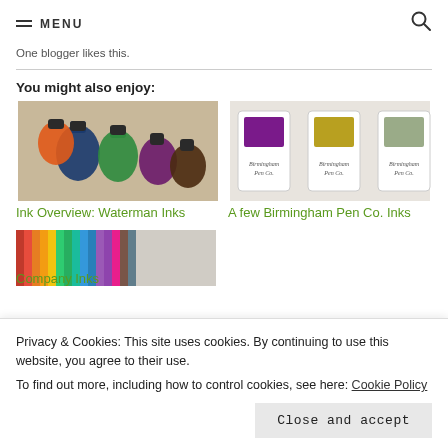≡ MENU
One blogger likes this.
You might also enjoy:
[Figure (photo): Colorful fountain pen ink bottles arranged on a wooden surface — blue, green, orange, purple, brown colors visible.]
Ink Overview: Waterman Inks
[Figure (photo): Ink swatches on white tags showing purple, yellow, and grey colors with handwritten labels for Birmingham Pen Co. inks.]
A few Birmingham Pen Co. Inks
[Figure (photo): Partial view of colorful striped ink swatches on paper.]
Company Inks
Privacy & Cookies: This site uses cookies. By continuing to use this website, you agree to their use.
To find out more, including how to control cookies, see here: Cookie Policy
Close and accept